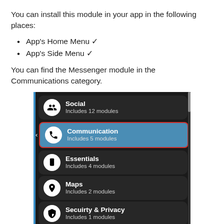You can install this module in your app in the following places:
App's Home Menu ✓
App's Side Menu ✓
You can find the Messenger module in the Communications category.
[Figure (screenshot): Mobile app screenshot showing a module category list with items: Social (Includes 12 modules), Communication (Includes 5 modules, highlighted with red border), Essentials (Includes 4 modules), Maps (Includes 2 modules), Secuirty & Privacy (Includes 1 modules), Bookings & Events (Includes 5 modules)]